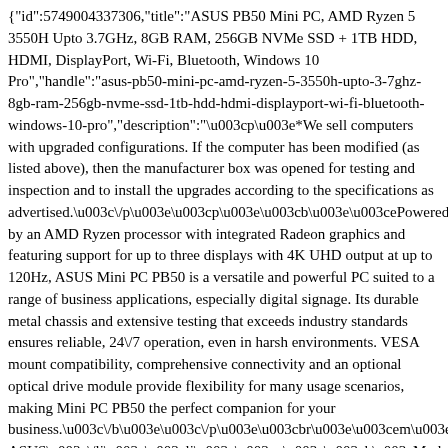{"id":5749004337306,"title":"ASUS PB50 Mini PC, AMD Ryzen 5 3550H Upto 3.7GHz, 8GB RAM, 256GB NVMe SSD + 1TB HDD, HDMI, DisplayPort, Wi-Fi, Bluetooth, Windows 10 Pro","handle":"asus-pb50-mini-pc-amd-ryzen-5-3550h-upto-3-7ghz-8gb-ram-256gb-nvme-ssd-1tb-hdd-hdmi-displayport-wi-fi-bluetooth-windows-10-pro","description":"\u003cp\u003e*We sell computers with upgraded configurations. If the computer has been modified (as listed above), then the manufacturer box was opened for testing and inspection and to install the upgrades according to the specifications as advertised.\u003c\/p\u003e\u003cp\u003e\u003cb\u003e\u003cePowered by an AMD Ryzen processor with integrated Radeon graphics and featuring support for up to three displays with 4K UHD output at up to 120Hz, ASUS Mini PC PB50 is a versatile and powerful PC suited to a range of business applications, especially digital signage. Its durable metal chassis and extensive testing that exceeds industry standards ensures reliable, 24\/7 operation, even in harsh environments. VESA mount compatibility, comprehensive connectivity and an optional optical drive module provide flexibility for many usage scenarios, making Mini PC PB50 the perfect companion for your business.\u003c\/b\u003e\u003c\/p\u003e\u003cbr\u003e\u003cem\u003eINFORMATION\u003c\/b\u003e\u003c\/em\u003e\u003cbr\u003eASUS\u003c\/li\u003e\u003cli\u003e\u003cn\u003e\u003cb\u003eModel:\u003cPB50\u003c\/li\u003e\u003cli\u003e\u003cn\u003e\u003cb\u003eForm